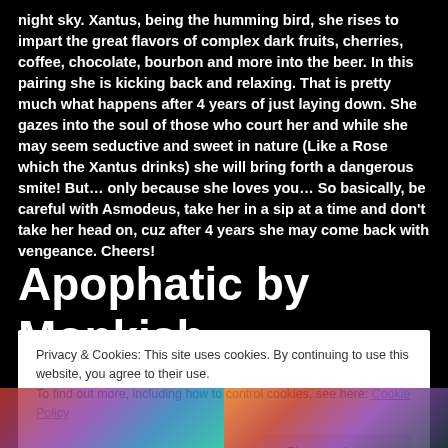night sky. Xantus, being the humming bird, she rises to impart the great flavors of complex dark fruits, cherries, coffee, chocolate, bourbon and more into the beer. In this pairing she is kicking back and relaxing. That is pretty much what happens after 4 years of just laying down. She gazes into the soul of those who court her and while she may seem seductive and sweet in nature (Like a Rose which the Xantus drinks) she will bring forth a dangerous smite! But… only because she loves you… So basically, be careful with Asmodeus, take her in a sip at a time and don't take her head on, cuz after 4 years she may come back with vengeance. Cheers!
Apophatic by Monkish brewing
Privacy & Cookies: This site uses cookies. By continuing to use this website, you agree to their use.
To find out more, including how to control cookies, see here: Cookie Policy
[Figure (photo): Two colorful images side by side at the bottom of the page, partially visible]